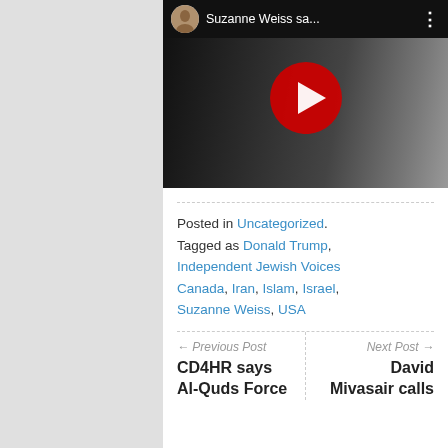[Figure (screenshot): YouTube video thumbnail with dark background showing people standing outside. Top bar shows avatar with a man's face, title 'Suzanne Weiss sa...' and three-dot menu. Large red play button in center.]
Posted in Uncategorized. Tagged as Donald Trump, Independent Jewish Voices Canada, Iran, Islam, Israel, Suzanne Weiss, USA
← Previous Post
CD4HR says Al-Quds Force
Next Post →
David Mivasair calls